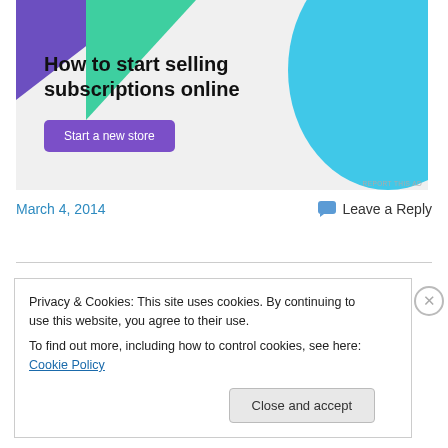[Figure (illustration): Advertisement banner with purple and green triangle shapes top-left, blue curved shape top-right, on light gray background. Bold text reads 'How to start selling subscriptions online' with a purple 'Start a new store' button.]
REPORT THIS AD
March 4, 2014
Leave a Reply
Privacy & Cookies: This site uses cookies. By continuing to use this website, you agree to their use.
To find out more, including how to control cookies, see here: Cookie Policy
Close and accept